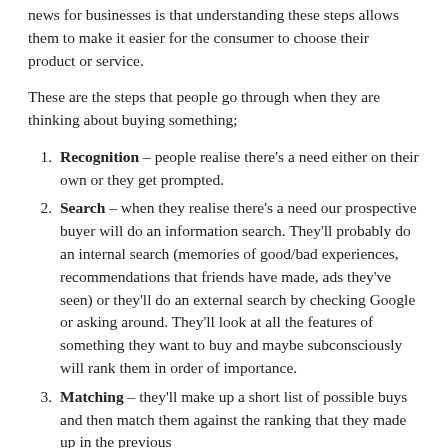news for businesses is that understanding these steps allows them to make it easier for the consumer to choose their product or service.
These are the steps that people go through when they are thinking about buying something;
Recognition – people realise there's a need either on their own or they get prompted.
Search – when they realise there's a need our prospective buyer will do an information search. They'll probably do an internal search (memories of good/bad experiences, recommendations that friends have made, ads they've seen) or they'll do an external search by checking Google or asking around. They'll look at all the features of something they want to buy and maybe subconsciously will rank them in order of importance.
Matching – they'll make up a short list of possible buys and then match them against the ranking that they made up in the previous